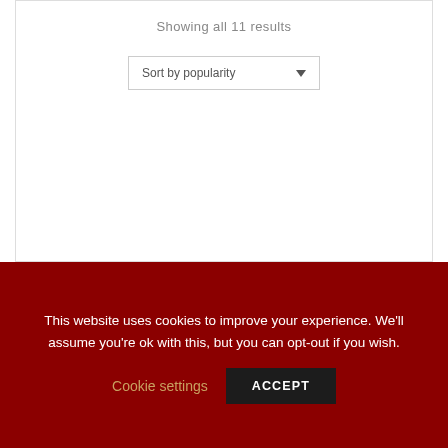Showing all 11 results
Sort by popularity
This website uses cookies to improve your experience. We'll assume you're ok with this, but you can opt-out if you wish.
Cookie settings
ACCEPT